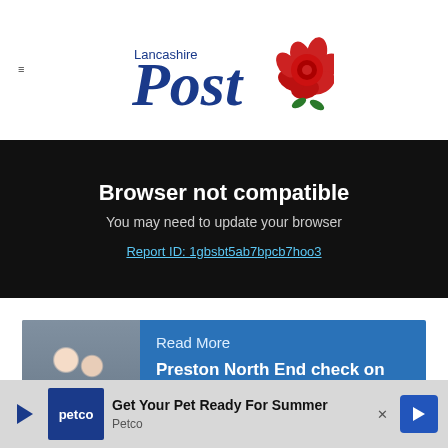Lancashire Post
Browser not compatible
You may need to update your browser
Report ID: 1gbsbt5ab7bpcb7hoo3
Read More
Preston North End check on Patrick Bauer's fitness with Liam Lindsay suspended
Lindsay's suspension is the legacy of his red card
[Figure (other): Petco advertisement: Get Your Pet Ready For Summer]